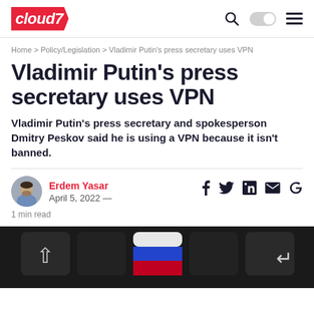cloud7
Home > Policy/Legislation > Vladimir Putin's press secretary uses VPN
Vladimir Putin's press secretary uses VPN
Vladimir Putin's press secretary and spokesperson Dmitry Peskov said he is using a VPN because it isn't banned.
Erdem Yasar  April 5, 2022 —  1 min read
[Figure (photo): Close-up of dark keyboard keys with a keyboard key showing Russian flag colors (white and blue stripes)]